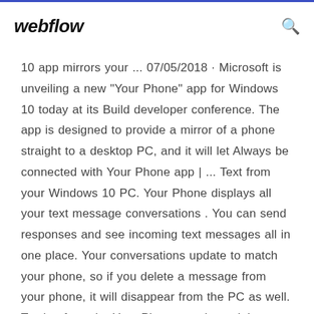webflow
10 app mirrors your ... 07/05/2018 · Microsoft is unveiling a new "Your Phone" app for Windows 10 today at its Build developer conference. The app is designed to provide a mirror of a phone straight to a desktop PC, and it will let Always be connected with Your Phone app | ... Text from your Windows 10 PC. Your Phone displays all your text message conversations . You can send responses and see incoming text messages all in one place. Your conversations update to match your phone, so if you delete a message from your phone, it will disappear from the PC as well. Texting from the Your Phone app is straight forward. The layout is similar to most email clients out there.